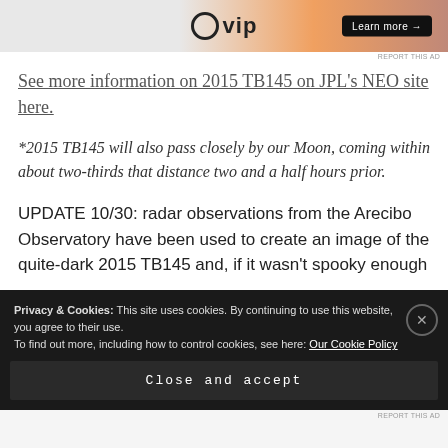[Figure (screenshot): Advertisement banner with Wordpress VIP logo and 'Learn more' button on a gradient orange/peach background. 'REPORT THIS AD' text below.]
See more information on 2015 TB145 on JPL's NEO site here.
*2015 TB145 will also pass closely by our Moon, coming within about two-thirds that distance two and a half hours prior.
UPDATE 10/30: radar observations from the Arecibo Observatory have been used to create an image of the quite-dark 2015 TB145 and, if it wasn't spooky enough
Privacy & Cookies: This site uses cookies. By continuing to use this website, you agree to their use.
To find out more, including how to control cookies, see here: Our Cookie Policy
Close and accept